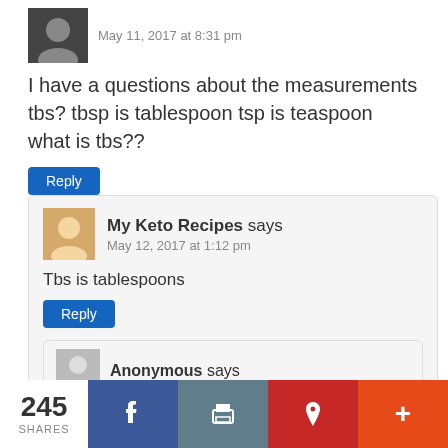May 11, 2017 at 8:31 pm
I have a questions about the measurements tbs? tbsp is tablespoon tsp is teaspoon what is tbs??
Reply
My Keto Recipes says
May 12, 2017 at 1:12 pm
Tbs is tablespoons
Reply
Anonymous says
245 SHARES